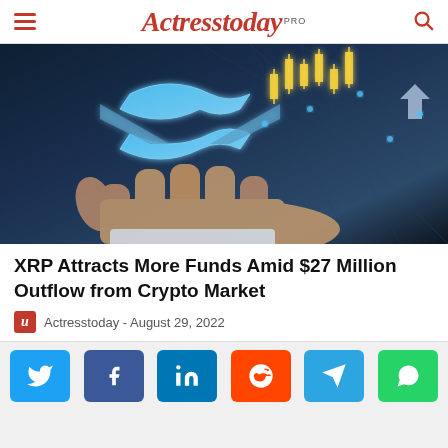Actresstoday PRO
[Figure (photo): A hand held open with the XRP/Ripple logo and crypto chart candlestick data displayed in a glowing blue digital effect above it]
XRP Attracts More Funds Amid $27 Million Outflow from Crypto Market
Actresstoday - August 29, 2022
[Figure (infographic): Social sharing buttons row: Twitter, Facebook, LinkedIn, Reddit, Telegram, WhatsApp]